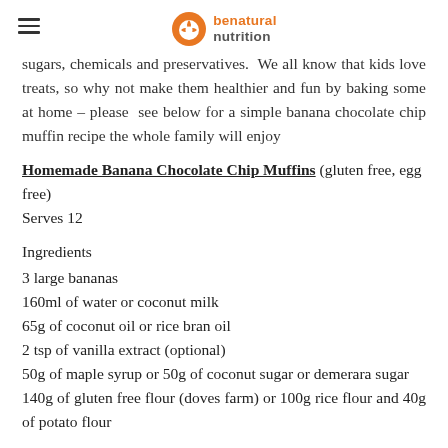benatural nutrition
sugars, chemicals and preservatives.  We all know that kids love treats, so why not make them healthier and fun by baking some at home – please  see below for a simple banana chocolate chip muffin recipe the whole family will enjoy
Homemade Banana Chocolate Chip Muffins (gluten free, egg free)
Serves 12
Ingredients
3 large bananas
160ml of water or coconut milk
65g of coconut oil or rice bran oil
2 tsp of vanilla extract (optional)
50g of maple syrup or 50g of coconut sugar or demerara sugar
140g of gluten free flour (doves farm) or 100g rice flour and 40g of potato flour